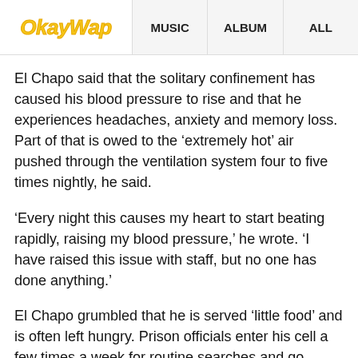OkayWap | MUSIC | ALBUM | ALL
El Chapo said that the solitary confinement has caused his blood pressure to rise and that he experiences headaches, anxiety and memory loss. Part of that is owed to the ‘extremely hot’ air pushed through the ventilation system four to five times nightly, he said.
‘Every night this causes my heart to start beating rapidly, raising my blood pressure,’ he wrote. ‘I have raised this issue with staff, but no one has done anything.’
El Chapo grumbled that he is served ‘little food’ and is often left hungry. Prison officials enter his cell a few times a week for routine searches and go through all of his belongings, he said.
The former drug lord previously moaned that his pre-trial stay at the Metropolitan Detention Center in New York was